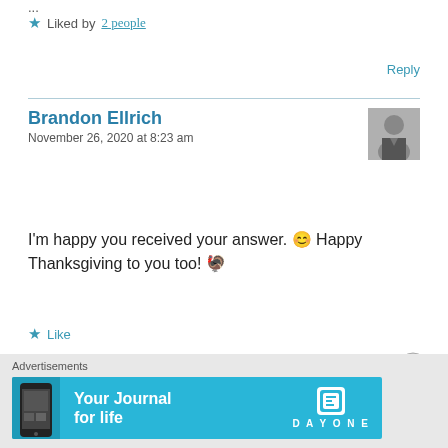...
★ Liked by 2 people
Reply
Brandon Ellrich
November 26, 2020 at 8:23 am
[Figure (photo): Black and white portrait photo of Brandon Ellrich, a man in a suit]
I'm happy you received your answer. 😊 Happy Thanksgiving to you too! 🦃
★ Like
Reply
Advertisements
[Figure (infographic): Day One app advertisement banner: 'Your Journal for life' with phone image and Day One logo on cyan background]